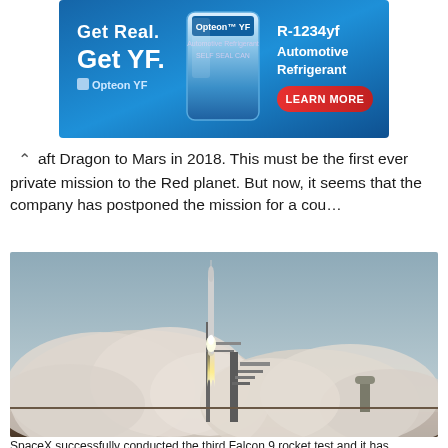[Figure (photo): Advertisement banner for Opteon YF R-1234yf Automotive Refrigerant with blue background, product can image, and LEARN MORE button]
aft Dragon to Mars in 2018. This must be the first ever private mission to the Red planet. But now, it seems that the company has postponed the mission for a cou...
[Figure (photo): Rocket launch with large smoke clouds at launch pad, bright flame visible, overcast sky]
SpaceX successfully conducted the third Falcon 9 rocket test and it has...